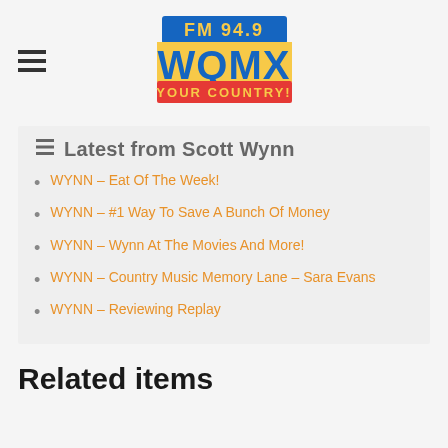[Figure (logo): FM 94.9 WQMX Your Country! radio station logo with blue, yellow, and red text]
Latest from Scott Wynn
WYNN – Eat Of The Week!
WYNN – #1 Way To Save A Bunch Of Money
WYNN – Wynn At The Movies And More!
WYNN – Country Music Memory Lane – Sara Evans
WYNN – Reviewing Replay
Related items